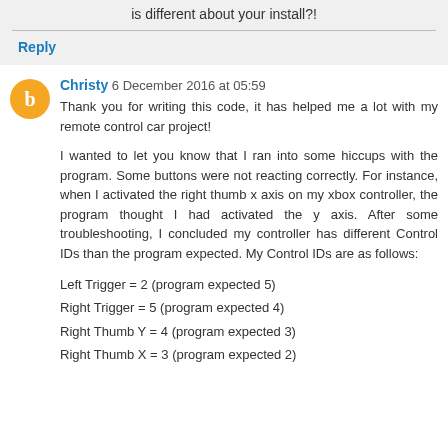is different about your install?!
Reply
Christy 6 December 2016 at 05:59
Thank you for writing this code, it has helped me a lot with my remote control car project!
I wanted to let you know that I ran into some hiccups with the program. Some buttons were not reacting correctly. For instance, when I activated the right thumb x axis on my xbox controller, the program thought I had activated the y axis. After some troubleshooting, I concluded my controller has different Control IDs than the program expected. My Control IDs are as follows:
Left Trigger = 2 (program expected 5)
Right Trigger = 5 (program expected 4)
Right Thumb Y = 4 (program expected 3)
Right Thumb X = 3 (program expected 2)